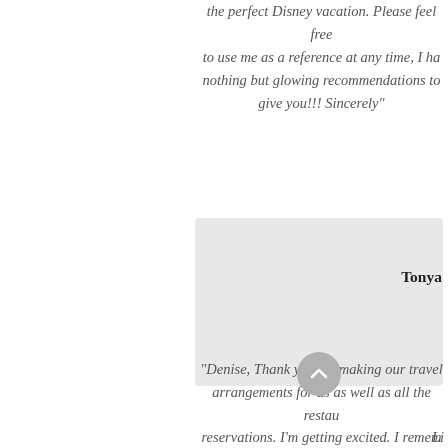the perfect Disney vacation. Please feel free to use me as a reference at any time, I have nothing but glowing recommendations to give you!!! Sincerely"
Tonya
"Denise, Thank you for making our travel arrangements for us as well as all the restaurant reservations. I'm getting excited. I remember how absolutely perfect our trip to Vegas and Grand Canyon was after you made the best plans for us. So I know this trip will be just as great if not better since you are such a Disney aficionado. Now if we can only get all the girls agree to a couple's trip, the world would be perfect. Thanks again,"
Li